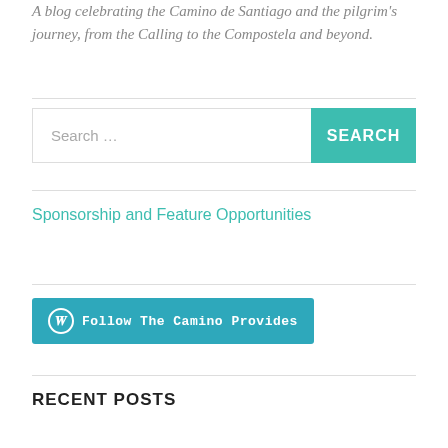A blog celebrating the Camino de Santiago and the pilgrim's journey, from the Calling to the Compostela and beyond.
[Figure (screenshot): Search bar with text field showing 'Search ...' placeholder and a teal SEARCH button on the right]
Sponsorship and Feature Opportunities
[Figure (screenshot): Follow The Camino Provides button with WordPress logo, teal background]
RECENT POSTS